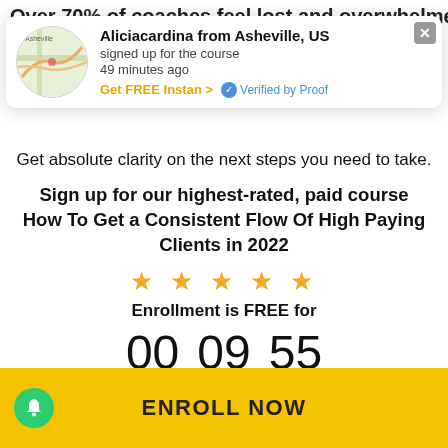Over 70% of coaches feel lost and overwhelmed...ings and
[Figure (screenshot): Notification popup: map thumbnail of Asheville area on left; text 'Aliciacardina from Asheville, US signed up for the course 49 minutes ago' with 'Get FREE Instan >' link and 'Verified by Proof' badge; close button top right]
Get absolute clarity on the next steps you need to take.
Sign up for our highest-rated, paid course How To Get a Consistent Flow Of High Paying Clients in 2022
★ ★ ★ ★ ★
Enrollment is FREE for
00 Hours  09 Minutes  55 Seconds
ENROLL NOW